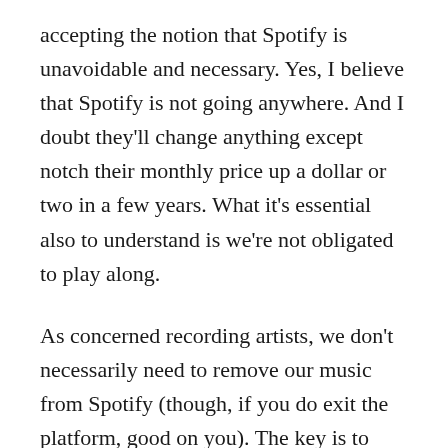accepting the notion that Spotify is unavoidable and necessary. Yes, I believe that Spotify is not going anywhere. And I doubt they'll change anything except notch their monthly price up a dollar or two in a few years. What it's essential also to understand is we're not obligated to play along.
As concerned recording artists, we don't necessarily need to remove our music from Spotify (though, if you do exit the platform, good on you). The key is to treat